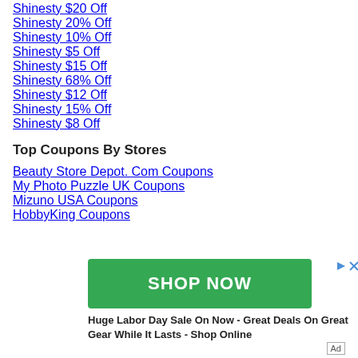Shinesty $20 Off
Shinesty 20% Off
Shinesty 10% Off
Shinesty $5 Off
Shinesty $15 Off
Shinesty 68% Off
Shinesty $12 Off
Shinesty 15% Off
Shinesty $8 Off
Top Coupons By Stores
Beauty Store Depot. Com Coupons
My Photo Puzzle UK Coupons
Mizuno USA Coupons
HobbyKing Coupons
[Figure (infographic): Green SHOP NOW button advertisement for Labor Day Sale with play and close icons, and Ad label]
Huge Labor Day Sale On Now - Great Deals On Great Gear While It Lasts - Shop Online